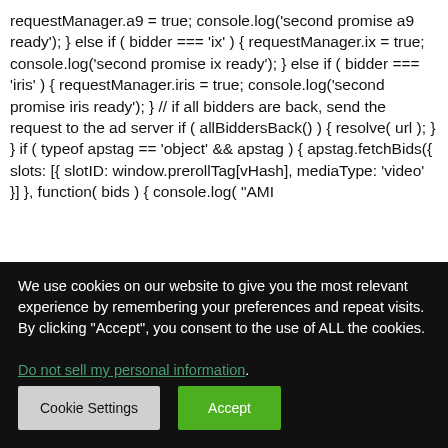requestManager.a9 = true; console.log('second promise a9 ready'); } else if ( bidder === 'ix' ) { requestManager.ix = true; console.log('second promise ix ready'); } else if ( bidder === 'iris' ) { requestManager.iris = true; console.log('second promise iris ready'); } // if all bidders are back, send the request to the ad server if ( allBiddersBack() ) { resolve( url ); } } if ( typeof apstag == 'object' && apstag ) { apstag.fetchBids({ slots: [{ slotID: window.prerollTag[vHash], mediaType: 'video' }] }, function( bids ) { console.log( "AMI
We use cookies on our website to give you the most relevant experience by remembering your preferences and repeat visits. By clicking "Accept", you consent to the use of ALL the cookies.
Do not sell my personal information.
Cookie Settings
Accept